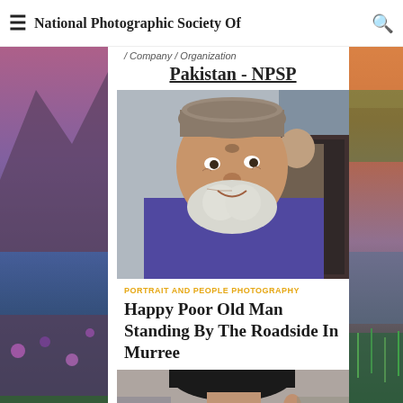≡ National Photographic Society Of 🔍
/ Company / Organization
Pakistan - NPSP
[Figure (photo): Portrait of a smiling elderly man with white beard, wearing a grey pakol hat and purple shirt, standing outdoors. Another man visible in the background.]
PORTRAIT AND PEOPLE PHOTOGRAPHY
Happy Poor Old Man Standing By The Roadside In Murree
[Figure (photo): Partial photo of a person's head with dark hair, cropped at bottom of page.]